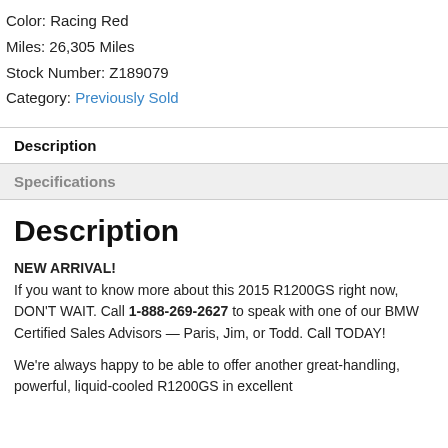Color: Racing Red
Miles: 26,305 Miles
Stock Number: Z189079
Category: Previously Sold
Description
Specifications
Description
NEW ARRIVAL!
If you want to know more about this 2015 R1200GS right now, DON'T WAIT. Call 1-888-269-2627 to speak with one of our BMW Certified Sales Advisors — Paris, Jim, or Todd. Call TODAY!
We're always happy to be able to offer another great-handling, powerful, liquid-cooled R1200GS in excellent